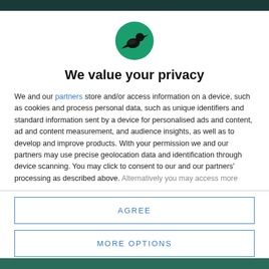[Figure (logo): Circular green logo with a black silhouette of a bird (crow/raven) facing left]
We value your privacy
We and our partners store and/or access information on a device, such as cookies and process personal data, such as unique identifiers and standard information sent by a device for personalised ads and content, ad and content measurement, and audience insights, as well as to develop and improve products. With your permission we and our partners may use precise geolocation data and identification through device scanning. You may click to consent to our and our partners' processing as described above. Alternatively you may access more
AGREE
MORE OPTIONS